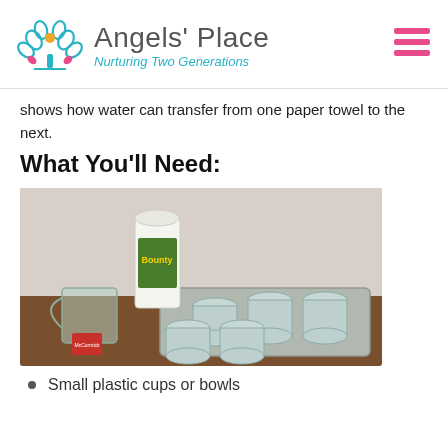Angels' Place — Nurturing Two Generations
shows how water can transfer from one paper towel to the next.
What You'll Need:
[Figure (photo): Photo of supplies: Bounty paper towel roll, a glass pitcher, a small box of food coloring, and five mason jars on a metal baking tray on a wooden table.]
Small plastic cups or bowls